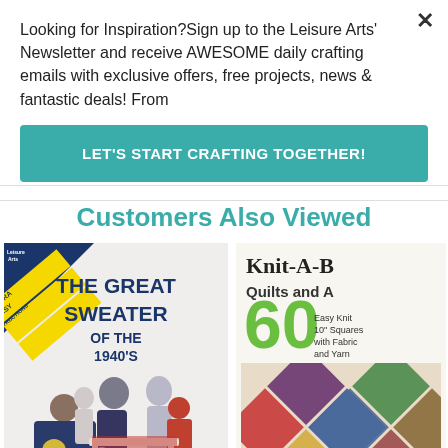Looking for Inspiration?Sign up to the Leisure Arts' Newsletter and receive AWESOME daily crafting emails with exclusive offers, free projects, news & fantastic deals! From
LET'S START CRAFTING TOGETHER!
Customers Also Viewed
[Figure (photo): Book cover: THE GREAT SWEATER OF THE 1940'S with EXTRA EASY INSTRUCTIONS label, showing a family wearing sweaters]
[Figure (photo): Book cover: Knit-A-B Quilts and A with 60 Easy Knit 10" Squares with Fabric and Yarn, showing a quilt with colorful diamond shapes]